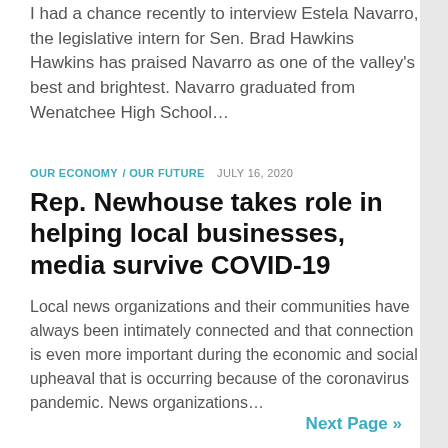I had a chance recently to interview Estela Navarro, the legislative intern for Sen. Brad Hawkins Hawkins has praised Navarro as one of the valley's best and brightest. Navarro graduated from Wenatchee High School…
OUR ECONOMY / OUR FUTURE   JULY 16, 2020
Rep. Newhouse takes role in helping local businesses, media survive COVID-19
Local news organizations and their communities have always been intimately connected and that connection is even more important during the economic and social upheaval that is occurring because of the coronavirus pandemic. News organizations…
Next Page »